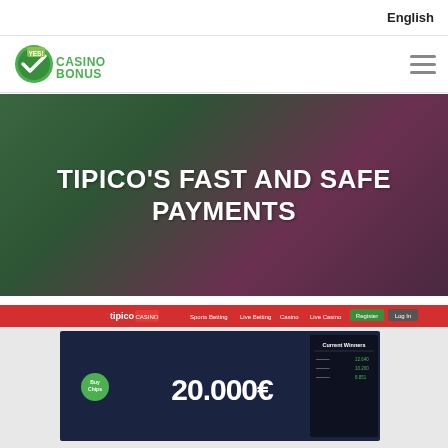English
[Figure (logo): Yes Casino Bonus logo with green checkmark and YES! text]
TIPICO'S FAST AND SAFE PAYMENTS
[Figure (screenshot): Screenshot of Tipico casino website showing 20.000€ promotion with red header bar and Current Winners panel]